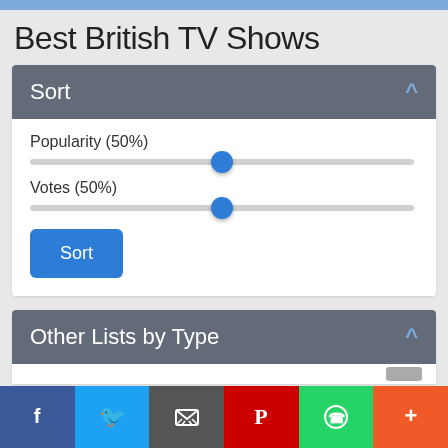Best British TV Shows
Sort
Popularity (50%)
Votes (50%)
Sort
Other Lists by Type
f  Twitter  Email  Pinterest  WhatsApp  +